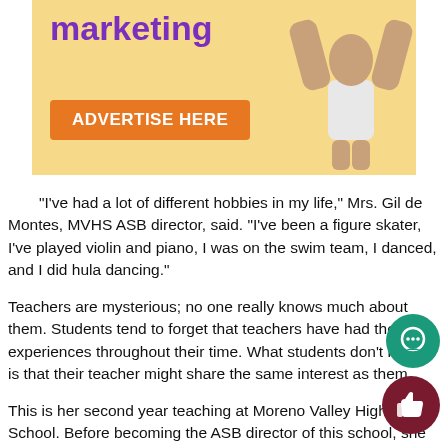[Figure (illustration): Advertisement banner with yellow background, purple bold text 'marketing', orange 'ADVERTISE HERE' button, and a person with arms raised on the right side.]
“I’ve had a lot of different hobbies in my life,” Mrs. Gil de Montes, MVHS ASB director, said. “I’ve been a figure skater, I’ve played violin and piano, I was on the swim team, I danced, and I did hula dancing.”
Teachers are mysterious; no one really knows much about them. Students tend to forget that teachers have had their own experiences throughout their time. What students don’t realize is that their teacher might share the same interest as them.
This is her second year teaching at Moreno Valley High School. Before becoming the ASB director of this school, she used to work at Vista Del Lago High School.
“I was an art teacher for 7 years and assistant ASB director for years at Vista Del Lago,” Mrs. Gil de Montes added. She wasn’t t